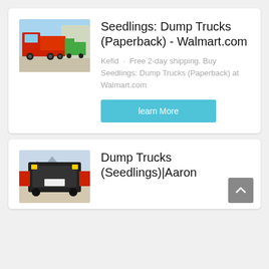[Figure (photo): Red dump trucks parked outdoors under blue sky]
Seedlings: Dump Trucks (Paperback) - Walmart.com
Kefid · Free 2-day shipping. Buy Seedlings: Dump Trucks (Paperback) at Walmart.com
learn More
[Figure (photo): Rear view of dump truck with mountains in background]
Dump Trucks (Seedlings)|Aaron